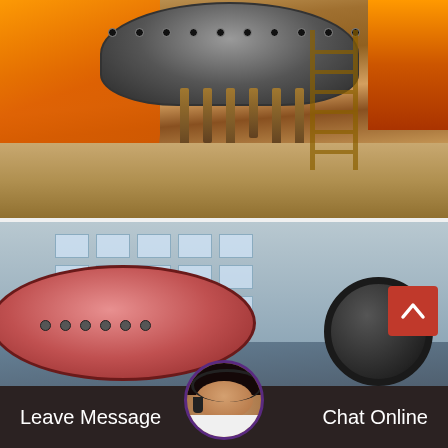[Figure (photo): Industrial ball mill grinding machinery on construction site with orange equipment and wooden stakes]
China Gold Copper Ore Grinding Ball...
China gold copper ore grinding ball mill ymq2400x4500 find details about china gold ore bal…
[Figure (photo): Large pink/red cylindrical ball mill in front of industrial building with windows]
Leave Message   Chat Online